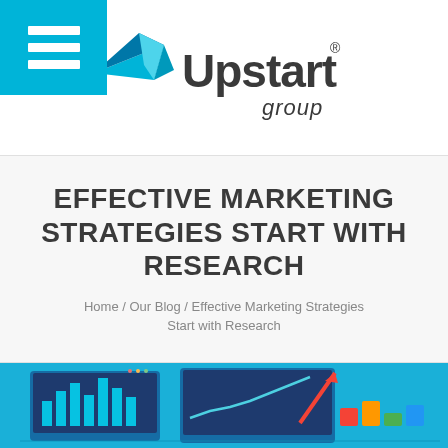[Figure (logo): Upstart Group logo with paper airplane icon and text 'Upstart group' with registered trademark symbol]
EFFECTIVE MARKETING STRATEGIES START WITH RESEARCH
Home / Our Blog / Effective Marketing Strategies Start with Research
[Figure (illustration): Marketing analytics illustration showing computer screens with charts and graphs, bar chart, line chart with red upward arrow, on blue background]